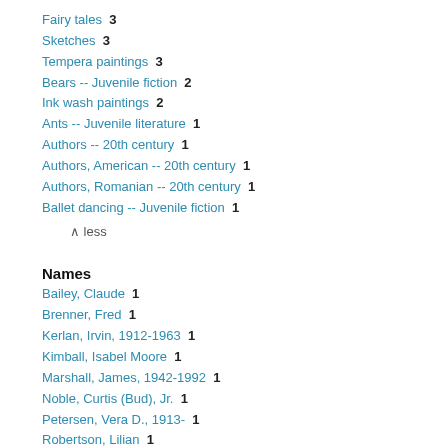Fairy tales  3
Sketches  3
Tempera paintings  3
Bears -- Juvenile fiction  2
Ink wash paintings  2
Ants -- Juvenile literature  1
Authors -- 20th century  1
Authors, American -- 20th century  1
Authors, Romanian -- 20th century  1
Ballet dancing -- Juvenile fiction  1
^ less
Names
Bailey, Claude  1
Brenner, Fred  1
Kerlan, Irvin, 1912-1963  1
Kimball, Isabel Moore  1
Marshall, James, 1942-1992  1
Noble, Curtis (Bud), Jr.  1
Petersen, Vera D., 1913-  1
Robertson, Lilian  1
Sewell, Helen, 1896-1957  1